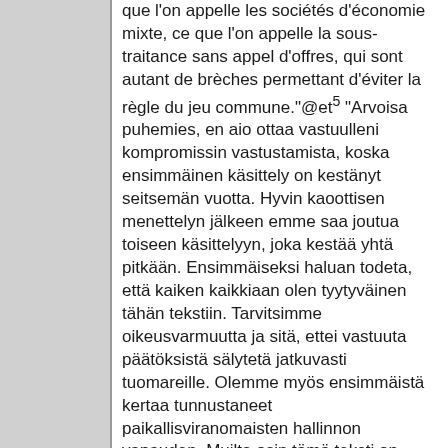que l'on appelle les sociétés d'économie mixte, ce que l'on appelle la sous-traitance sans appel d'offres, qui sont autant de brèches permettant d'éviter la règle du jeu commune."@et⁵ "Arvoisa puhemies, en aio ottaa vastuulleni kompromissin vastustamista, koska ensimmäinen käsittely on kestänyt seitsemän vuotta. Hyvin kaoottisen menettelyn jälkeen emme saa joutua toiseen käsittelyyn, joka kestää yhtä pitkään. Ensimmäiseksi haluan todeta, että kaiken kaikkiaan olen tyytyväinen tähän tekstiin. Tarvitsimme oikeusvarmuutta ja sitä, ettei vastuuta päätöksistä sälytetä jatkuvasti tuomareille. Olemme myös ensimmäistä kertaa tunnustaneet paikallisviranomaisten hallinnon vapauden. Muilta osin tämä teksti on kuitenkin hyvin.